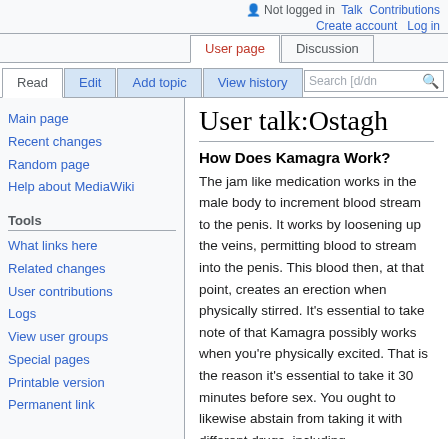Not logged in  Talk  Contributions  Create account  Log in
User page  Discussion
Read  Edit  Add topic  View history  Search
User talk:Ostagh
How Does Kamagra Work?
The jam like medication works in the male body to increment blood stream to the penis. It works by loosening up the veins, permitting blood to stream into the penis. This blood then, at that point, creates an erection when physically stirred. It's essential to take note of that Kamagra possibly works when you're physically excited. That is the reason it's essential to take it 30 minutes before sex. You ought to likewise abstain from taking it with different drugs, including
Main page
Recent changes
Random page
Help about MediaWiki
What links here
Related changes
User contributions
Logs
View user groups
Special pages
Printable version
Permanent link